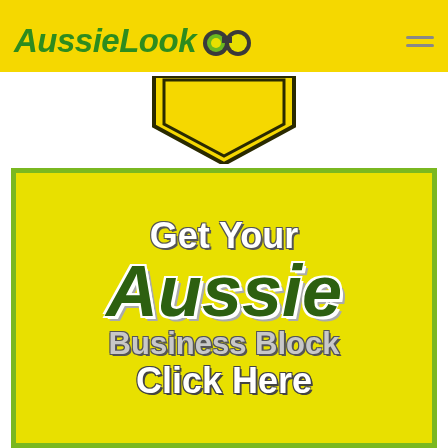AussielLook
[Figure (logo): AussieLook logo with binoculars icon on yellow header bar]
[Figure (illustration): Yellow and black chevron/badge shape below header]
[Figure (infographic): Yellow banner advertisement reading: Get Your Aussie Business Block Click Here, with green and white styled text on yellow background with green border]